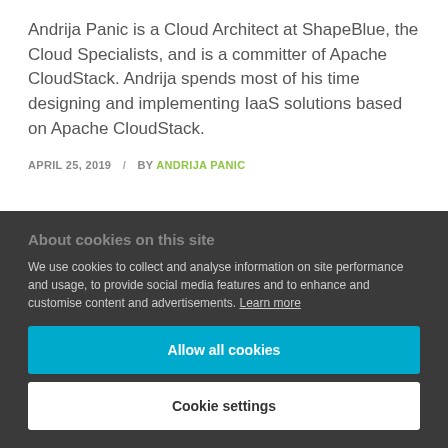Andrija Panic is a Cloud Architect at ShapeBlue, the Cloud Specialists, and is a committer of Apache CloudStack. Andrija spends most of his time designing and implementing IaaS solutions based on Apache CloudStack.
APRIL 25, 2019 / BY ANDRIJA PANIC
About cookies on this site
We use cookies to collect and analyse information on site performance and usage, to provide social media features and to enhance and customise content and advertisements. Learn more
Allow all cookies
Cookie settings